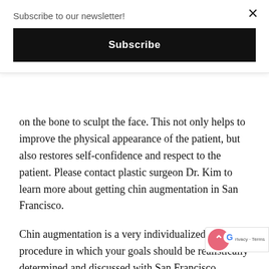Subscribe to our newsletter!
Subscribe
on the bone to sculpt the face. This not only helps to improve the physical appearance of the patient, but also restores self-confidence and respect to the patient. Please contact plastic surgeon Dr. Kim to learn more about getting chin augmentation in San Francisco.
Chin augmentation is a very individualized procedure in which your goals should be realistically determined and discussed with San Francisco physician Dr. Kim. Together you will determine